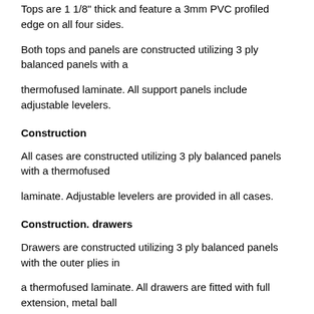Tops are 1 1/8" thick and feature a 3mm PVC profiled edge on all four sides.
Both tops and panels are constructed utilizing 3 ply balanced panels with a
thermofused laminate. All support panels include adjustable levelers.
Construction
All cases are constructed utilizing 3 ply balanced panels with a thermofused
laminate. Adjustable levelers are provided in all cases.
Construction. drawers
Drawers are constructed utilizing 3 ply balanced panels with the outer plies in
a thermofused laminate. All drawers are fitted with full extension, metal ball